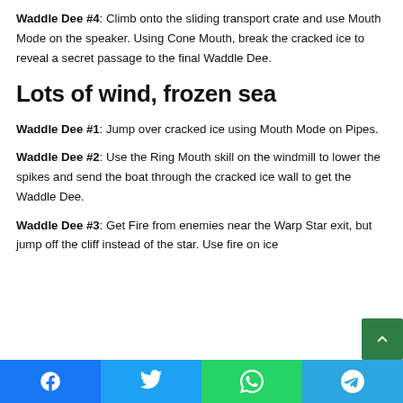Waddle Dee #4: Climb onto the sliding transport crate and use Mouth Mode on the speaker. Using Cone Mouth, break the cracked ice to reveal a secret passage to the final Waddle Dee.
Lots of wind, frozen sea
Waddle Dee #1: Jump over cracked ice using Mouth Mode on Pipes.
Waddle Dee #2: Use the Ring Mouth skill on the windmill to lower the spikes and send the boat through the cracked ice wall to get the Waddle Dee.
Waddle Dee #3: Get Fire from enemies near the Warp Star exit, but jump off the cliff instead of the star. Use fire on ice
Facebook | Twitter | WhatsApp | Telegram